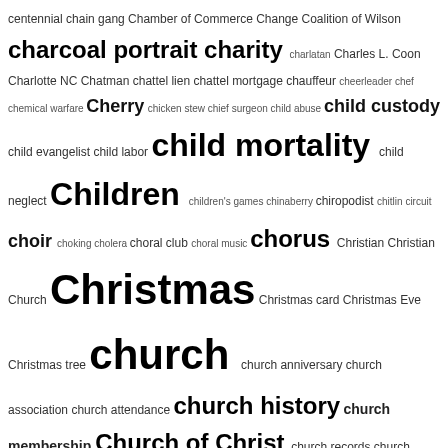centennial chain gang Chamber of Commerce Change Coalition of Wilson charcoal portrait charity charlatan Charles L. Coon Charlotte NC Chatman chattel lien chattel mortgage chauffeur cheerleader chef chemical warfare Cherry chicken stew chief surgeon child abuse child custody child evangelist child labor child mortality child neglect Children children's games chinaberry chiropodist chitlin circuit choir choking cholera choral club choral music chorus Christian Christian Church Christmas Christmas card Christmas Eve Christmas tree church church anniversary church association church attendance church history church membership Church of Christ church records church service Church Street cider circus citizenship citrus fruit city council city council minutes city directory city government City of Wilson civic club civic organization civil liberties Civil rights Civil Rights and Restorative Justice Project civil rights leader civil servant civil suit Civil War Civil War letters Claflin University clairvoyant Clarence Best Clark classmate class portrait class reunion classroom Clay cleaners clergymen clerk Cleveland OH Clift...